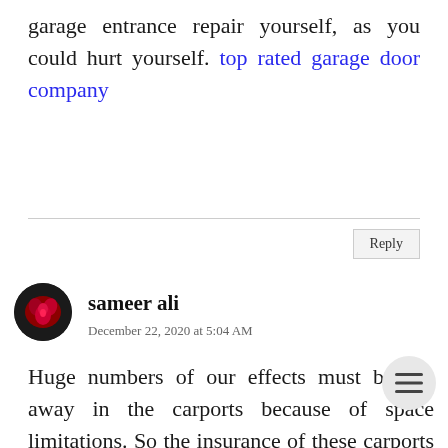garage entrance repair yourself, as you could hurt yourself. top rated garage door company
Reply
sameer ali
December 22, 2020 at 5:04 AM
Huge numbers of our effects must be put away in the carports because of space limitations. So the insurance of these carports is significant. A from the wellbeing of the vehicle, carports additionally offers assurance